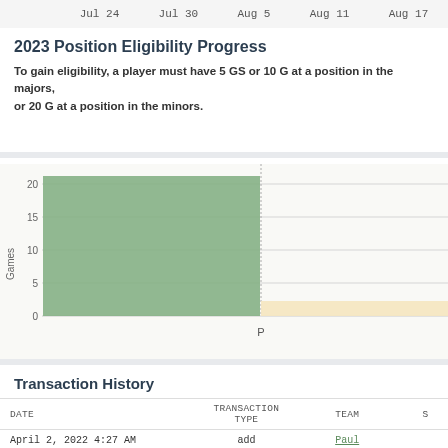Jul 24  Jul 30  Aug 5  Aug 11  Aug 17
2023 Position Eligibility Progress
To gain eligibility, a player must have 5 GS or 10 G at a position in the majors, or 20 G at a position in the minors.
[Figure (bar-chart): Position Eligibility Progress]
Transaction History
| DATE | TRANSACTION TYPE | TEAM | S |
| --- | --- | --- | --- |
| April 2, 2022 4:27 AM | add | Paul |  |